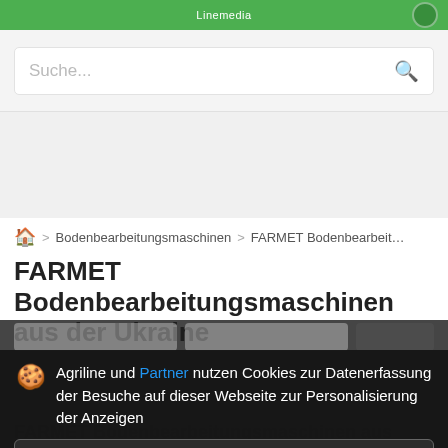Linemedia
Suche...
Bodenbearbeitungsmaschinen > FARMET Bodenbearbei...
FARMET Bodenbearbeitungsmaschinen aus der Ukraine
Agriline und Partner nutzen Cookies zur Datenerfassung der Besuche auf dieser Webseite zur Personalisierung der Anzeigen
Details
Akzeptieren und schließen
FARMET Bodenbearbeitungsmaschinen aus